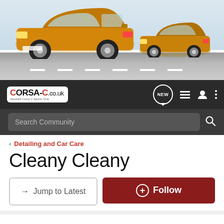[Figure (photo): Banner image showing two orange Vauxhall Corsa C cars on a road against a light sky background]
CORSA-C.co.uk - Vauxhall Corsa C Sports Club navigation bar with NEW, list, user, and menu icons, and a Search Community search bar
< Detailing and Car Care
Cleany Cleany
→ Jump to Latest   ⊕ Follow
1 - 20 of 22 Posts   1 of 2 ▶
Luke-S · Registered